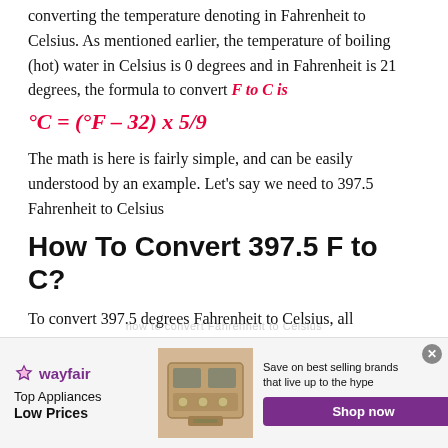converting the temperature denoting in Fahrenheit to Celsius. As mentioned earlier, the temperature of boiling (hot) water in Celsius is 0 degrees and in Fahrenheit is 21 degrees, the formula to convert F to C is
The math is here is fairly simple, and can be easily understood by an example. Let's say we need to 397.5 Fahrenheit to Celsius
How To Convert 397.5 F to C?
To convert 397.5 degrees Fahrenheit to Celsius, all
[Figure (other): Wayfair advertisement banner: Top Appliances Low Prices, Save on best selling brands that live up to the hype, Shop now button, appliance image]